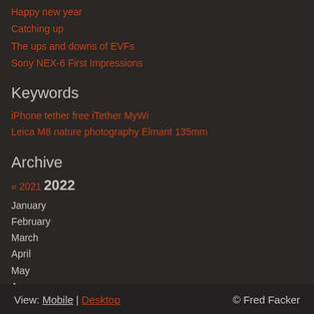Happy new year
Catching up
The ups and downs of EVFs
Sony NEX-6 First Impressions
Keywords
iPhone tether free iTether MyWi
Leica M8 nature photography Elmarit 135mm
Archive
« 2021  2022
January
February
March
April
May
June
July
August
View: Mobile | Desktop  © Fred Facker